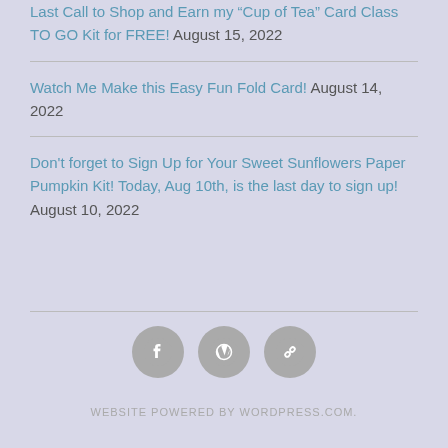Last Call to Shop and Earn my “Cup of Tea” Card Class TO GO Kit for FREE! August 15, 2022
Watch Me Make this Easy Fun Fold Card! August 14, 2022
Don't forget to Sign Up for Your Sweet Sunflowers Paper Pumpkin Kit! Today, Aug 10th, is the last day to sign up! August 10, 2022
[Figure (infographic): Three social media icon circles: Facebook, WordPress, and a chain-link/URL icon, displayed in a row in the footer area]
WEBSITE POWERED BY WORDPRESS.COM.